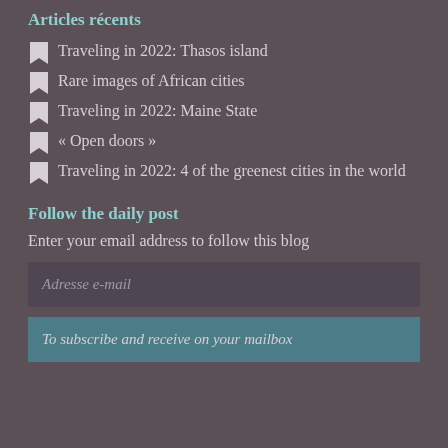Articles récents
Traveling in 2022: Thasos island
Rare images of African cities
Traveling in 2022: Maine State
« Open doors »
Traveling in 2022: 4 of the greenest cities in the world
Follow the daily post
Enter your email address to follow this blog
Adresse e-mail
To subscribe and receive on your mailbox